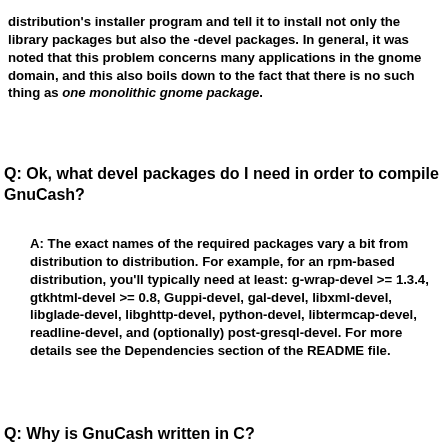distribution's installer program and tell it to install not only the library packages but also the -devel packages. In general, it was noted that this problem concerns many applications in the gnome domain, and this also boils down to the fact that there is no such thing as one monolithic gnome package.
Q: Ok, what devel packages do I need in order to compile GnuCash?
A: The exact names of the required packages vary a bit from distribution to distribution. For example, for an rpm-based distribution, you'll typically need at least: g-wrap-devel >= 1.3.4, gtkhtml-devel >= 0.8, Guppi-devel, gal-devel, libxml-devel, libglade-devel, libghttp-devel, python-devel, libtermcap-devel, readline-devel, and (optionally) post-gresql-devel. For more details see the Dependencies section of the README file.
Q: Why is GnuCash written in C?